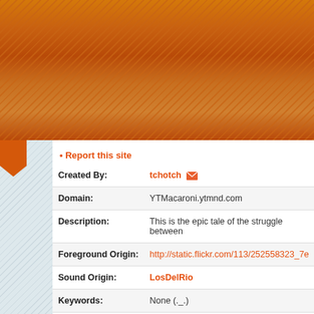[Figure (photo): Header image showing macaroni pasta with orange/red sauce, repeated tiled pattern across the top of the page]
• Report this site
| Created By: | tchotch [email icon] |
| Domain: | YTMacaroni.ytmnd.com |
| Description: | This is the epic tale of the struggle between |
| Foreground Origin: | http://static.flickr.com/113/252558323_7e... |
| Sound Origin: | LosDelRio |
| Keywords: | None (._.) |
Sponsorships:
| User | Amount | User |
| --- | --- | --- |
|  |  | No one has sponsore... |